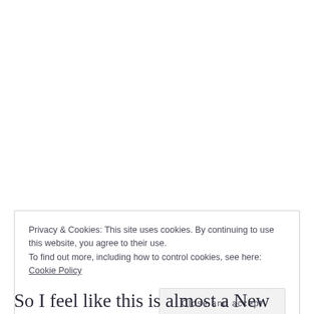Privacy & Cookies: This site uses cookies. By continuing to use this website, you agree to their use.
To find out more, including how to control cookies, see here: Cookie Policy
[Close and accept button]
So I feel like this is almost a New Year's